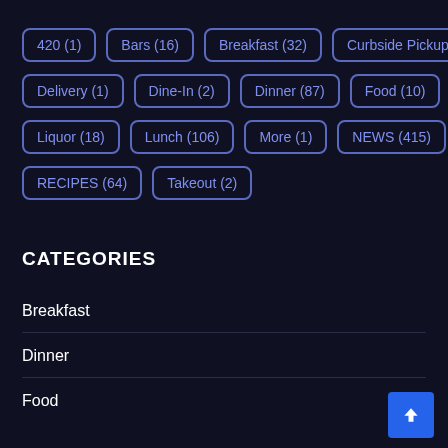420 (1)
Bars (16)
Breakfast (32)
Curbside Pickup (1)
Delivery (1)
Dine-In (2)
Dinner (87)
Food (10)
Liquor (18)
Lunch (106)
More (1)
NEWS (415)
RECIPES (64)
Takeout (2)
CATEGORIES
Breakfast
Dinner
Food